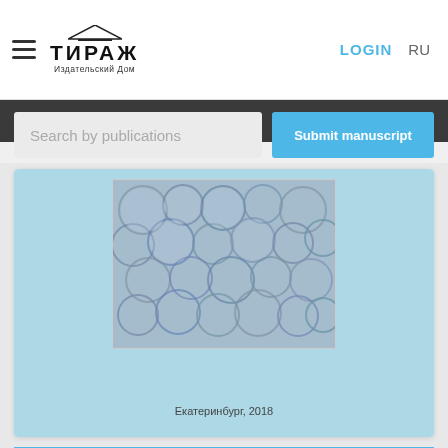ТИРАЖ Издательский Дом — LOGIN  RU
[Figure (screenshot): Website screenshot showing a search bar with placeholder 'Search by publications' and a 'Submit manuscript' button in blue]
[Figure (photo): Microscopic close-up photo of bubble-like transparent cellular structures on a light blue book cover]
Екатеринбург, 2018
Submit manuscript
To cite